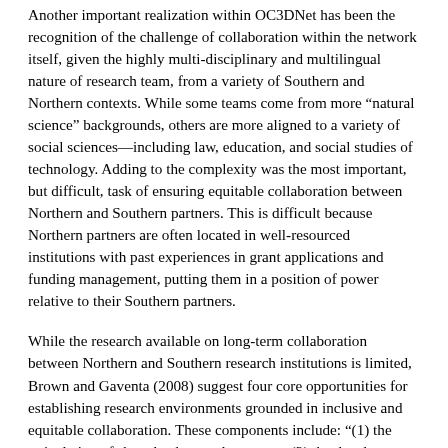Another important realization within OC3DNet has been the recognition of the challenge of collaboration within the network itself, given the highly multi-disciplinary and multilingual nature of research team, from a variety of Southern and Northern contexts. While some teams come from more “natural science” backgrounds, others are more aligned to a variety of social sciences—including law, education, and social studies of technology. Adding to the complexity was the most important, but difficult, task of ensuring equitable collaboration between Northern and Southern partners. This is difficult because Northern partners are often located in well-resourced institutions with past experiences in grant applications and funding management, putting them in a position of power relative to their Southern partners.
While the research available on long-term collaboration between Northern and Southern research institutions is limited, Brown and Gaventa (2008) suggest four core opportunities for establishing research environments grounded in inclusive and equitable collaboration. These components include: “(1) the articulation of shared values and purposes, (2) the development of relationships and trust among network members, (3) the creation of a network architecture of tasks, structures, cultural expectations, and organizational resources that shape its activities, and (4) the distribution of formal and informal power within the network.” Adding to this analysis, from a development-research funding perspective, a radical shift in donor-grantee relationships and calls